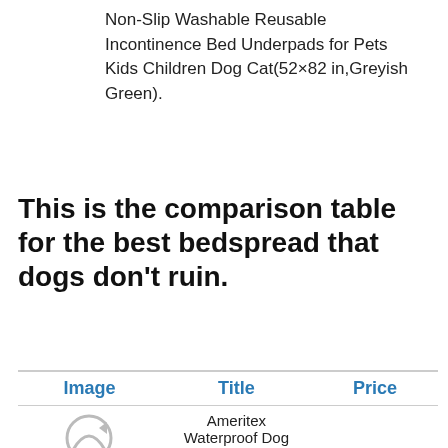Non-Slip Washable Reusable Incontinence Bed Underpads for Pets Kids Children Dog Cat(52×82 in,Greyish Green).
This is the comparison table for the best bedspread that dogs don't ruin.
| Image | Title | Price |
| --- | --- | --- |
|  | Ameritex Waterproof Dog Bed Cover Pet Blanket for Furniture... |  |